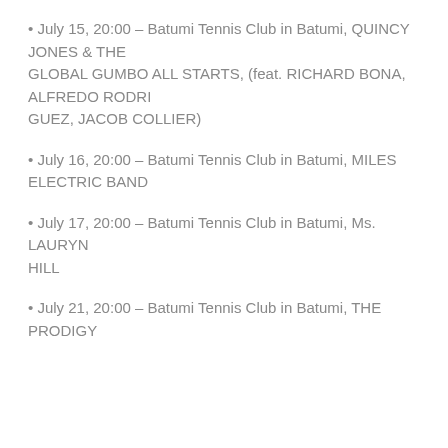• July 15, 20:00 – Batumi Tennis Club in Batumi, QUINCY JONES & THE GLOBAL GUMBO ALL STARTS, (feat. RICHARD BONA, ALFREDO RODRIGUEZ, JACOB COLLIER)
• July 16, 20:00 – Batumi Tennis Club in Batumi, MILES ELECTRIC BAND
• July 17, 20:00 – Batumi Tennis Club in Batumi, Ms. LAURYN HILL
• July 21, 20:00 – Batumi Tennis Club in Batumi, THE PRODIGY